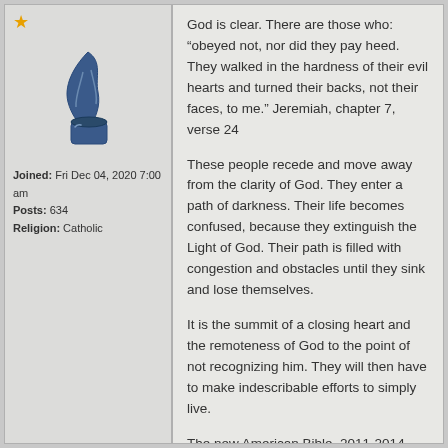[Figure (illustration): User avatar icon showing a quill pen and ink pot in dark blue/navy style]
Joined: Fri Dec 04, 2020 7:00 am
Posts: 634
Religion: Catholic
God is clear. There are those who: “obeyed not, nor did they pay heed. They walked in the hardness of their evil hearts and turned their backs, not their faces, to me.” Jeremiah, chapter 7, verse 24
These people recede and move away from the clarity of God. They enter a path of darkness. Their life becomes confused, because they extinguish the Light of God. Their path is filled with congestion and obstacles until they sink and lose themselves.
It is the summit of a closing heart and the remoteness of God to the point of not recognizing him. They will then have to make indescribable efforts to simply live.
The new American Bible, 2011-2014 Book: Let’s love God, Normand Thomas